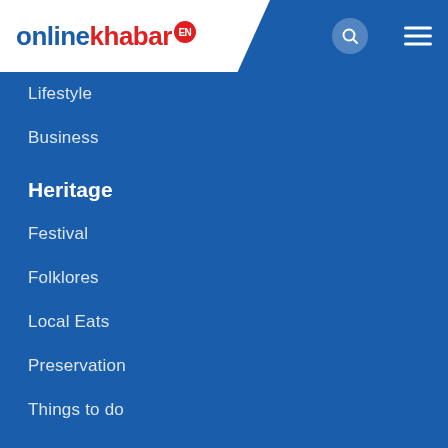onlinekhabar EN
Lifestyle
Business
Heritage
Festival
Folklores
Local Eats
Preservation
Things to do
Lifestyle
Lifestyle News